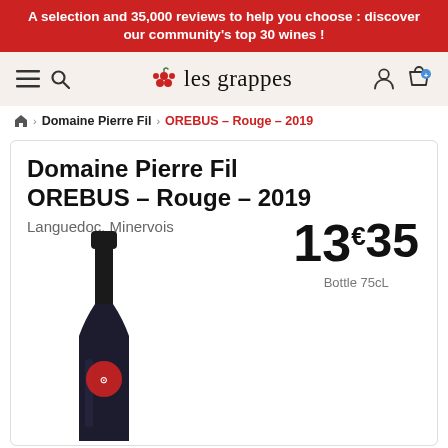A selection and 35,000 reviews to help you choose : discover our community's top 30 wines !
[Figure (logo): les grappes wine community logo with grape icon and navigation icons (hamburger menu, search, user, cart)]
🏠 › Domaine Pierre Fil › OREBUS – Rouge – 2019
Domaine Pierre Fil OREBUS – Rouge – 2019
Languedoc, Minervois
13€35
Bottle 75cL
[Figure (photo): Dark red wine bottle with black capsule and red circular label, Domaine Pierre Fil OREBUS]